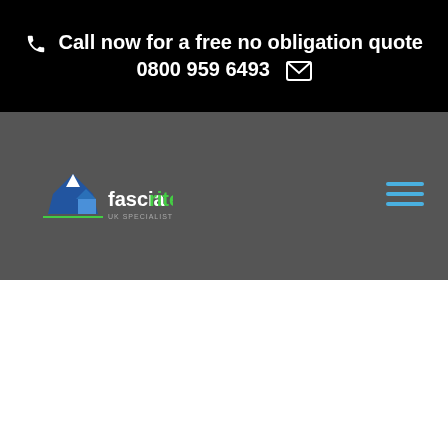Call now for a free no obligation quote 0800 959 6493
[Figure (logo): Fasciarite company logo with mountain/house graphic and green 'rite' text]